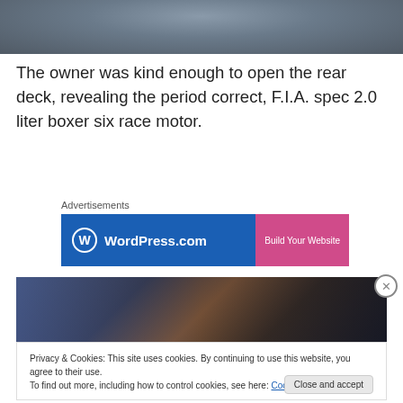[Figure (photo): Top portion of a car exterior photo, showing metallic/dark surface, cropped at top of page]
The owner was kind enough to open the rear deck, revealing the period correct, F.I.A. spec 2.0 liter boxer six race motor.
Advertisements
[Figure (other): WordPress.com advertisement banner with blue background, WordPress logo on left and pink 'Build Your Website' button on right]
[Figure (photo): Car interior photo showing dashboard, steering wheel, and interior details]
Privacy & Cookies: This site uses cookies. By continuing to use this website, you agree to their use.
To find out more, including how to control cookies, see here: Cookie Policy
Close and accept